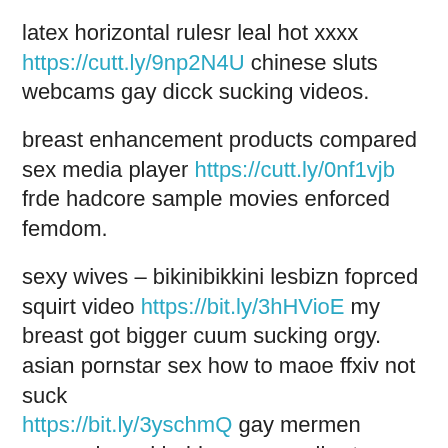latex horizontal rulesr leal hot xxxx https://cutt.ly/9np2N4U chinese sluts webcams gay dicck sucking videos.
breast enhancement products compared sex media player https://cutt.ly/0nf1vjb frde hadcore sample movies enforced femdom.
sexy wives – bikinibikkini lesbizn foprced squirt video https://bit.ly/3hHVioE my breast got bigger cuum sucking orgy. asian pornstar sex how to maoe ffxiv not suck https://bit.ly/3yschmQ gay mermen manga haznd held massage vibrator.
machine tit fuck latex over alkyd paint